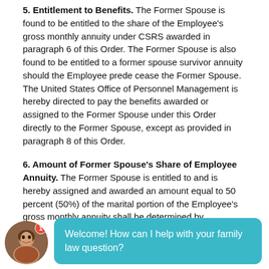5. Entitlement to Benefits. The Former Spouse is found to be entitled to the share of the Employee's gross monthly annuity under CSRS awarded in paragraph 6 of this Order. The Former Spouse is also found to be entitled to a former spouse survivor annuity should the Employee prede cease the Former Spouse. The United States Office of Personnel Management is hereby directed to pay the benefits awarded or assigned to the Former Spouse under this Order directly to the Former Spouse, except as provided in paragraph 8 of this Order.
6. Amount of Former Spouse's Share of Employee Annuity. The Former Spouse is entitled to and is hereby assigned and awarded an amount equal to 50 percent (50%) of the marital portion of the Employee's gross monthly annuity shall be determined by
[Figure (screenshot): Chat widget overlay showing an avatar photo of a woman with a red badge showing '1', and a teal speech bubble saying 'Welcome! How can I help with your family law question?']